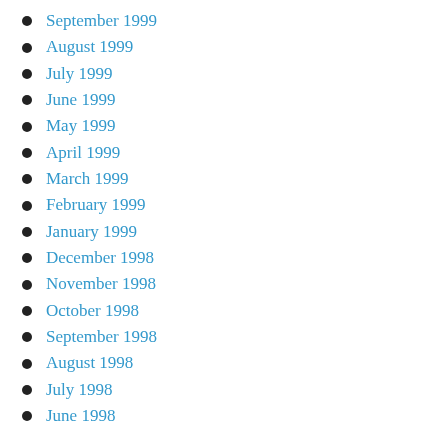September 1999
August 1999
July 1999
June 1999
May 1999
April 1999
March 1999
February 1999
January 1999
December 1998
November 1998
October 1998
September 1998
August 1998
July 1998
June 1998